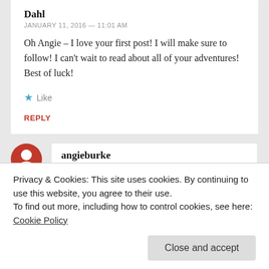Dahl
JANUARY 11, 2016 — 11:01 AM
Oh Angie – I love your first post! I will make sure to follow! I can't wait to read about all of your adventures! Best of luck!
★ Like
REPLY
angieburke
JANUARY 13, 2016 — 6:08 PM
Privacy & Cookies: This site uses cookies. By continuing to use this website, you agree to their use.
To find out more, including how to control cookies, see here: Cookie Policy
Close and accept